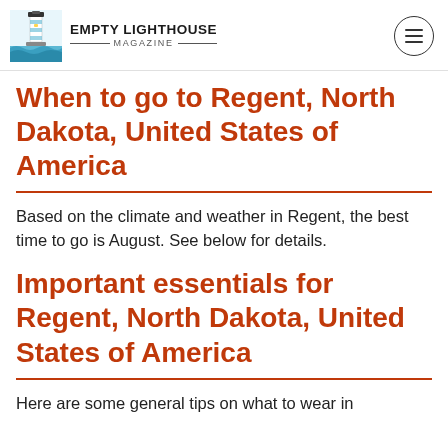EMPTY LIGHTHOUSE MAGAZINE
When to go to Regent, North Dakota, United States of America
Based on the climate and weather in Regent, the best time to go is August. See below for details.
Important essentials for Regent, North Dakota, United States of America
Here are some general tips on what to wear in